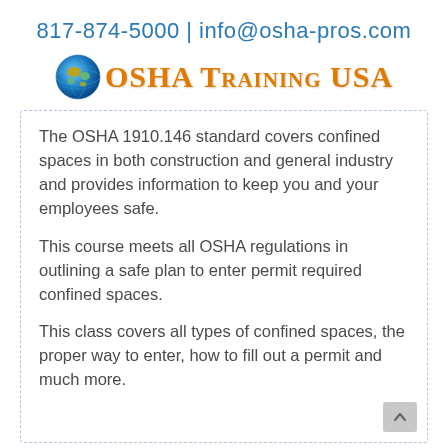817-874-5000 | info@osha-pros.com
[Figure (logo): OSHA Training USA logo with globe icon and orange text on white background]
The OSHA 1910.146 standard covers confined spaces in both construction and general industry and provides information to keep you and your employees safe.
This course meets all OSHA regulations in outlining a safe plan to enter permit required confined spaces.
This class covers all types of confined spaces, the proper way to enter, how to fill out a permit and much more.